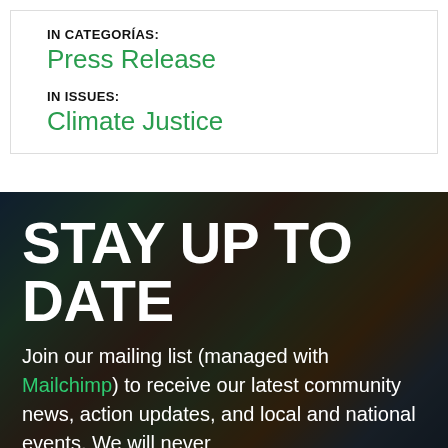IN CATEGORÍAS:
Press Release
IN ISSUES:
Climate Justice
STAY UP TO DATE
Join our mailing list (managed with Mailchimp) to receive our latest community news, action updates, and local and national events. We will never